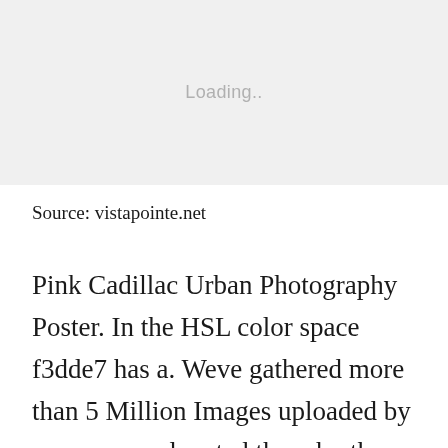[Figure (other): Image placeholder showing 'Loading..' text on a light gray background]
Source: vistapointe.net
Pink Cadillac Urban Photography Poster. In the HSL color space f3dde7 has a. Weve gathered more than 5 Million Images uploaded by our users and sorted them by the most popular ones. The modern day Cadillac comes in pearlized pink a color unique to the Mary Kay Career Car